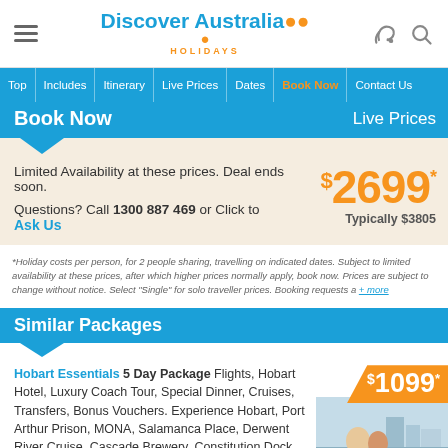[Figure (logo): Discover Australia Holidays logo with orange dots above text]
Top | Includes | Itinerary | Live Prices | Dates | Book Now | Contact Us
Book Now   Live Prices
Limited Availability at these prices. Deal ends soon. Questions? Call 1300 887 469 or Click to Ask Us
$2699* Typically $3805
*Holiday costs per person, for 2 people sharing, travelling on indicated dates. Subject to limited availability at these prices, after which higher prices normally apply, book now. Prices are subject to change without notice. Select "Single" for solo traveller prices. Booking requests a + more
Similar Packages
Hobart Essentials 5 Day Package Flights, Hobart Hotel, Luxury Coach Tour, Special Dinner, Cruises, Transfers, Bonus Vouchers. Experience Hobart, Port Arthur Prison, MONA, Salamanca Place, Derwent River Cruise, Cascade Brewery, Constitution Dock, Anglesea Barracks, Cascade Gardens, Penny Hill Lookout, Tasman Bridge
$1099*
Contact Us